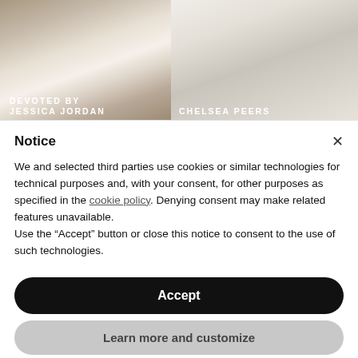[Figure (photo): Two book cover photos side by side. Left: woman in white dress in a field, titled DEVOTED BY JESSICA JORDAN. Right: group of women in floral outfits, titled CHELSEA PEERS.]
Notice
We and selected third parties use cookies or similar technologies for technical purposes and, with your consent, for other purposes as specified in the cookie policy. Denying consent may make related features unavailable.
Use the “Accept” button or close this notice to consent to the use of such technologies.
Accept
Learn more and customize